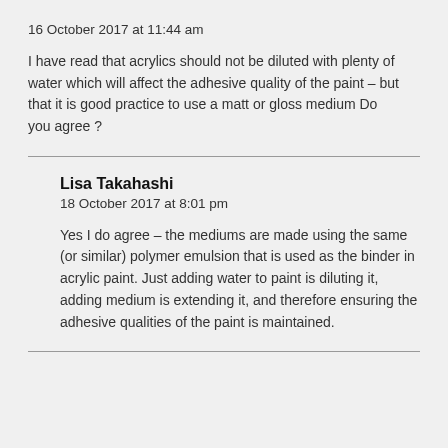16 October 2017 at 11:44 am
I have read that acrylics should not be diluted with plenty of water which will affect the adhesive quality of the paint – but that it is good practice to use a matt or gloss medium Do you agree ?
Lisa Takahashi
18 October 2017 at 8:01 pm
Yes I do agree – the mediums are made using the same (or similar) polymer emulsion that is used as the binder in acrylic paint. Just adding water to paint is diluting it, adding medium is extending it, and therefore ensuring the adhesive qualities of the paint is maintained.